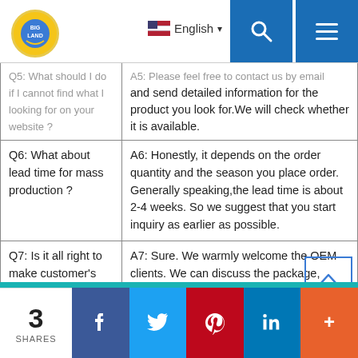Website navigation header with logo, English language selector, search and menu buttons
| Question | Answer |
| --- | --- |
| Q5: What should I do if I cannot find what I looking for on your website ? | A5: Please feel free to contact us by email and send detailed information for the product you look for.We will check whether it is available. |
| Q6: What about lead time for mass production ? | A6: Honestly, it depends on the order quantity and the season you place order. Generally speaking,the lead time is about 2-4 weeks. So we suggest that you start inquiry as earlier as possible. |
| Q7: Is it all right to make customer's own brand name ? | A7: Sure. We warmly welcome the OEM clients. We can discuss the package, design, etc. |
|  | A8: Usually we quote within 24 hours after we get your inquiry detail. If you are very... |
3 SHARES | Facebook | Twitter | Pinterest | LinkedIn | More